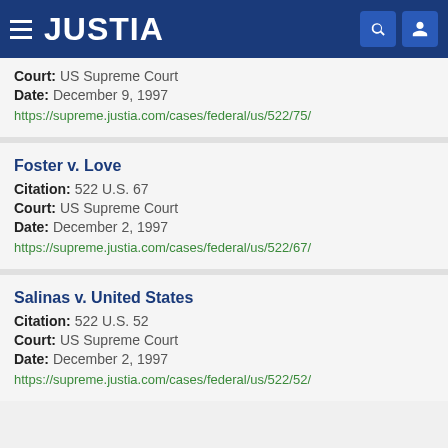JUSTIA
Court: US Supreme Court
Date: December 9, 1997
https://supreme.justia.com/cases/federal/us/522/75/
Foster v. Love
Citation: 522 U.S. 67
Court: US Supreme Court
Date: December 2, 1997
https://supreme.justia.com/cases/federal/us/522/67/
Salinas v. United States
Citation: 522 U.S. 52
Court: US Supreme Court
Date: December 2, 1997
https://supreme.justia.com/cases/federal/us/522/52/